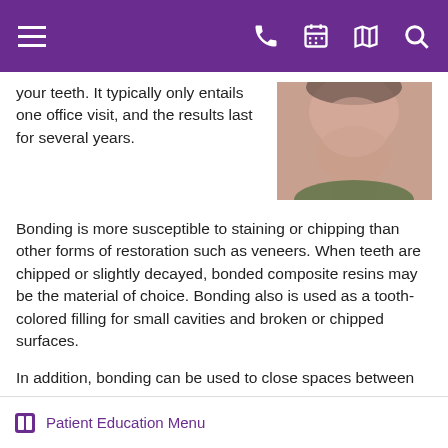Navigation bar with menu, phone, calendar, map, and search icons
your teeth. It typically only entails one office visit, and the results last for several years.
[Figure (photo): Close-up photo of a woman's lower face and neck]
Bonding is more susceptible to staining or chipping than other forms of restoration such as veneers. When teeth are chipped or slightly decayed, bonded composite resins may be the material of choice. Bonding also is used as a tooth-colored filling for small cavities and broken or chipped surfaces.
In addition, bonding can be used to close spaces between teeth or cover the entire outside surface of a tooth to change its color and shape. Crowns, also known as caps, are used in cases where other procedures will not be effective. Crowns have the longest life expectancy of all cosmetic restorations, but are the most time consuming.
Patient Education Menu